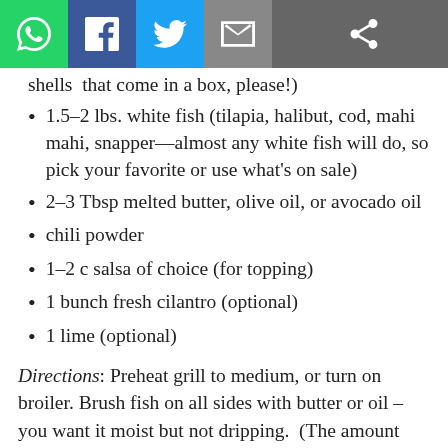[Social share bar: WhatsApp, Facebook, Twitter, Email, Share icons]
shells  that come in a box, please!)
1.5–2 lbs. white fish (tilapia, halibut, cod, mahi mahi, snapper—almost any white fish will do, so pick your favorite or use what's on sale)
2–3 Tbsp melted butter, olive oil, or avocado oil
chili powder
1–2 c salsa of choice (for topping)
1 bunch fresh cilantro (optional)
1 lime (optional)
Directions: Preheat grill to medium, or turn on broiler. Brush fish on all sides with butter or oil – you want it moist but not dripping.  (The amount you use will depend on the fish — a firm, thick, dense fish like mahi-mahi will require more butter or oil than a thin and porous fish like